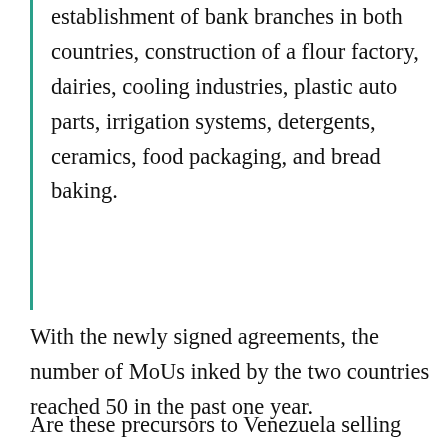establishment of bank branches in both countries, construction of a flour factory, dairies, cooling industries, plastic auto parts, irrigation systems, detergents, ceramics, food packaging, and bread baking.
With the newly signed agreements, the number of MoUs inked by the two countries reached 50 in the past one year.
Are these precursors to Venezuela selling its'